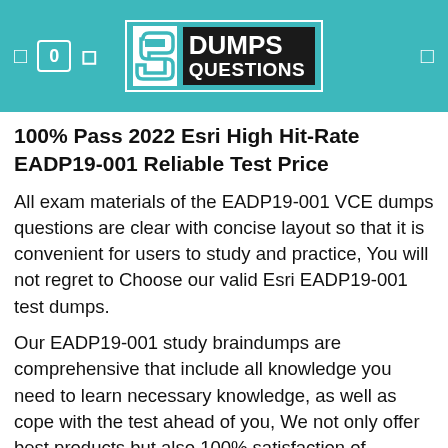[Figure (logo): DumpsQuestions logo with teal background header, showing stylized S icon and DUMPS QUESTIONS text in black box, with navigation icons]
100% Pass 2022 Esri High Hit-Rate EADP19-001 Reliable Test Price
All exam materials of the EADP19-001 VCE dumps questions are clear with concise layout so that it is convenient for users to study and practice, You will not regret to Choose our valid Esri EADP19-001 test dumps.
Our EADP19-001 study braindumps are comprehensive that include all knowledge you need to learn necessary knowledge, as well as cope with the test ahead of you, We not only offer best products but also 100% satisfaction of customer service.
Your time is so precious, there is no reason for you to hesitate any longer, just take action right now, Our EADP19-001 real questions simulate the real exam